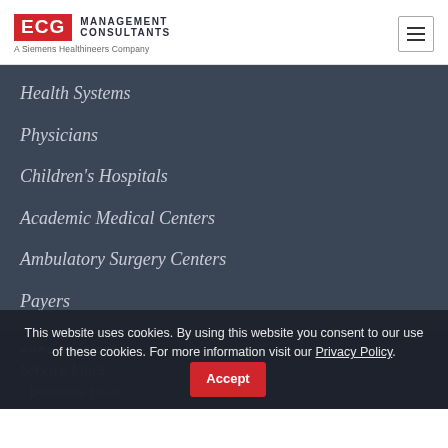ECG MANAGEMENT CONSULTANTS — A Siemens Healthineers Company
Health Systems
Physicians
Children's Hospitals
Academic Medical Centers
Ambulatory Surgery Centers
Payers
MORE SERVICES
Service Lines
Behavioral Health
This website uses cookies. By using this website you consent to our use of these cookies. For more information visit our Privacy Policy. Accept